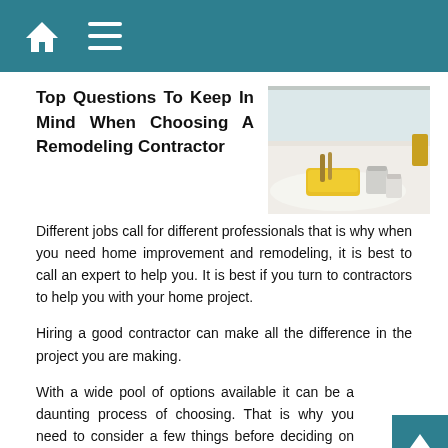[home icon] [menu icon]
Top Questions To Keep In Mind When Choosing A Remodeling Contractor
[Figure (photo): A room under renovation with paint supplies — yellow paint tray, brushes, and metal cans on a white drop cloth on the floor, bright window in background.]
Different jobs call for different professionals that is why when you need home improvement and remodeling, it is best to call an expert to help you. It is best if you turn to contractors to help you with your home project.
Hiring a good contractor can make all the difference in the project you are making.
With a wide pool of options available it can be a daunting process of choosing. That is why you need to consider a few things before deciding on who to settle business with.